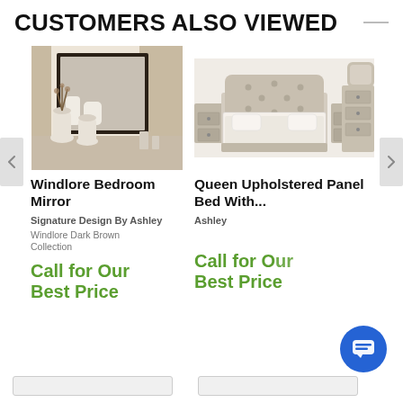CUSTOMERS ALSO VIEWED
[Figure (photo): Photo of Windlore Bedroom Mirror — dark-framed floor mirror with decorative vases in a neutral room setting]
Windlore Bedroom Mirror
Signature Design By Ashley
Windlore Dark Brown Collection
Call for Our Best Price
[Figure (photo): Photo of Queen Upholstered Panel Bed set — tufted headboard queen bed with matching nightstands, dresser, and mirror in a grey/taupe finish]
Queen Upholstered Panel Bed With...
Ashley
Call for Our Best Price